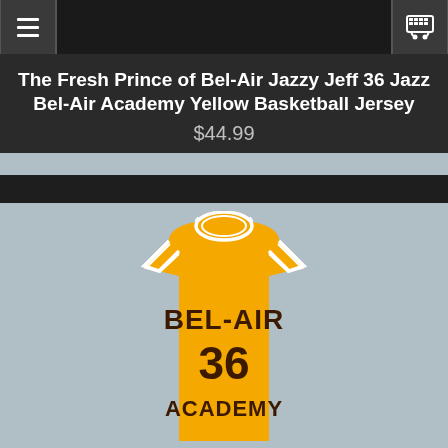Navigation bar with menu, search, and cart
The Fresh Prince of Bel-Air Jazzy Jeff 36 Jazz Bel-Air Academy Yellow Basketball Jersey
$44.99
[Figure (photo): Yellow basketball jersey with 'BEL-AIR ACADEMY 36' printed on the front in dark brown lettering, with white trim around the neck and armholes, displayed on a gray-blue background.]